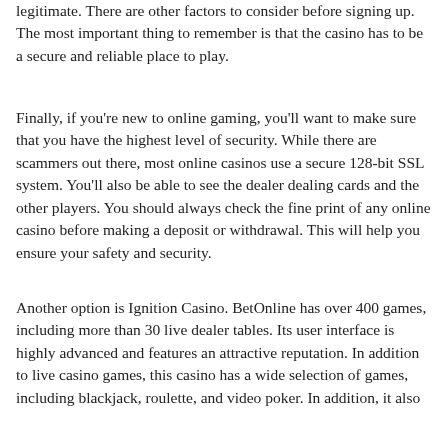legitimate. There are other factors to consider before signing up. The most important thing to remember is that the casino has to be a secure and reliable place to play.
Finally, if you're new to online gaming, you'll want to make sure that you have the highest level of security. While there are scammers out there, most online casinos use a secure 128-bit SSL system. You'll also be able to see the dealer dealing cards and the other players. You should always check the fine print of any online casino before making a deposit or withdrawal. This will help you ensure your safety and security.
Another option is Ignition Casino. BetOnline has over 400 games, including more than 30 live dealer tables. Its user interface is highly advanced and features an attractive reputation. In addition to live casino games, this casino has a wide selection of games, including blackjack, roulette, and video poker. In addition, it also